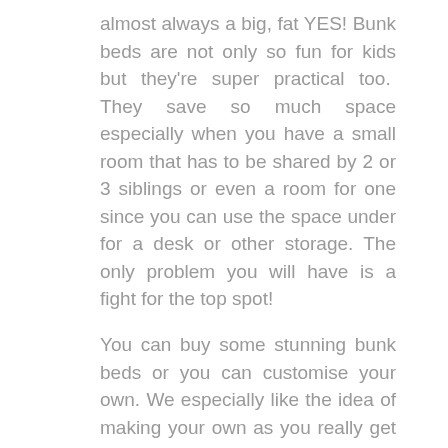almost always a big, fat YES! Bunk beds are not only so fun for kids but they're super practical too. They save so much space especially when you have a small room that has to be shared by 2 or 3 siblings or even a room for one since you can use the space under for a desk or other storage. The only problem you will have is a fight for the top spot!
You can buy some stunning bunk beds or you can customise your own. We especially like the idea of making your own as you really get to make the most of the space you have like in the picture at the top. They have created such a great shared space and by painting the area behind the top bed, it feels like a mini room. So clever! Whether you choose to buy a bunk bed or make your own, your kids will be delighted and you get to make the most of your space. We went looking for some bunk bed spaces that were inspiring and here're our top